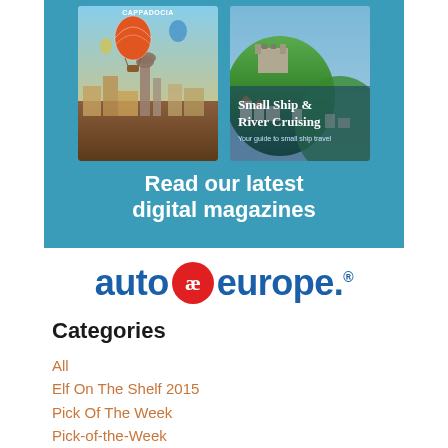[Figure (illustration): Travel magazine advertisement banner with teal/blue background showing two magazine covers (one with hot air balloon over a city, one with 'Small Ship & River Cruising' over a green hillside village) and the text 'Read our latest digital magazines']
[Figure (logo): Auto Europe logo: 'auto' in blue, red circular badge with 'ae' symbol, 'europe.' in blue, with registered trademark symbol]
Categories
All
Elf On The Shelf 2015
Pick Of The Week
Pick-of-the-Week
Travel Award Sponsor